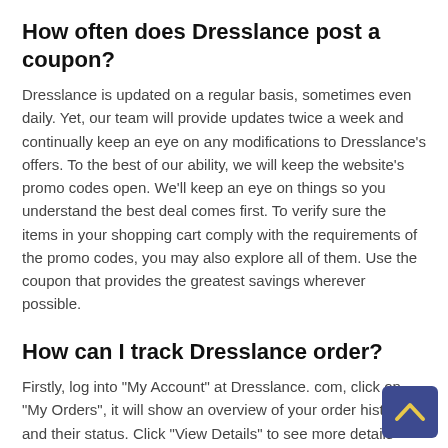How often does Dresslance post a coupon?
Dresslance is updated on a regular basis, sometimes even daily. Yet, our team will provide updates twice a week and continually keep an eye on any modifications to Dresslance's offers. To the best of our ability, we will keep the website's promo codes open. We'll keep an eye on things so you understand the best deal comes first. To verify sure the items in your shopping cart comply with the requirements of the promo codes, you may also explore all of them. Use the coupon that provides the greatest savings wherever possible.
How can I track Dresslance order?
Firstly, log into "My Account" at Dresslance. com, click on "My Orders", it will show an overview of your order history and their status. Click "View Details" to see more details after that. Thirdly, if your order is "Shipped", select "Track"